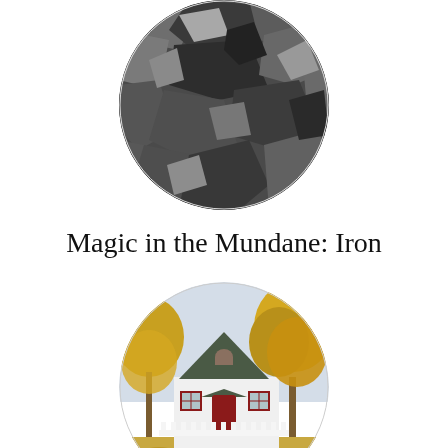[Figure (photo): Circular cropped photo of iron/metal ore chunks with metallic grey appearance]
Magic in the Mundane: Iron
[Figure (photo): Circular cropped photo of a white cottage-style house with green roof, red door, autumn trees with yellow leaves, white picket fence]
Magic in the Mundane — Houses